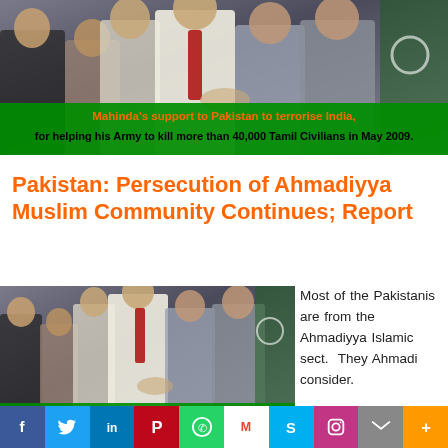[Figure (photo): Group of men in suits shaking hands, with Pakistan flag visible in background.]
Mahinda's support to Pakistan to terrorise India, for helping his Army to kill more than 40,000 Tamil Civilians in May 2009.
Pakistan: Persecution of Ahmadiyya Muslim Community Continues; Report
[Figure (photo): Same group photo repeated at smaller size with overlay caption.]
Most of the Pakistanis are from the Ahmadiyya Islamic sect. They Ahmadi consider.